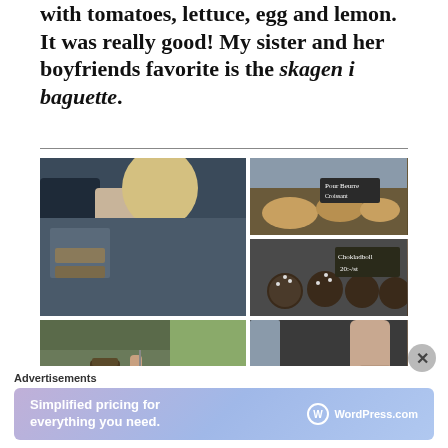with tomatoes, lettuce, egg and lemon. It was really good! My sister and her boyfriends favorite is the skagen i baguette.
[Figure (photo): Collage of three bakery/café photos: left large photo shows two people (man in dark t-shirt, blonde woman in floral top) viewed from behind at a bakery display case; top right photo shows pastries/croissants in a display case with a handwritten sign; bottom right photo shows round sugar-dusted chocolate balls/donut holes with a handwritten price sign.]
[Figure (photo): Two café/food photos side by side: left shows people eating/holding cutlery outdoors with a glass jar; right shows a hand serving a pastry or bagel on a dark plate.]
Advertisements
[Figure (screenshot): WordPress.com advertisement banner with gradient purple-blue background reading 'Simplified pricing for everything you need.' with WordPress.com logo on the right.]